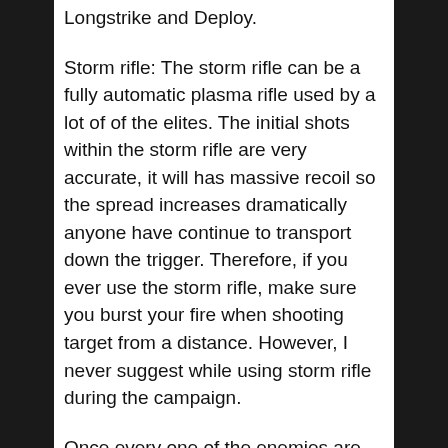Longstrike and Deploy.
Storm rifle: The storm rifle can be a fully automatic plasma rifle used by a lot of of the elites. The initial shots within the storm rifle are very accurate, it will has massive recoil so the spread increases dramatically anyone have continue to transport down the trigger. Therefore, if you ever use the storm rifle, make sure you burst your fire when shooting target from a distance. However, I never suggest while using storm rifle during the campaign.
Once every one of the enemies are dead, undertake it ! disable the shields generated by the spire in the main controls by pressing x. Stronger both allow Carter to get you and Jorge up in a